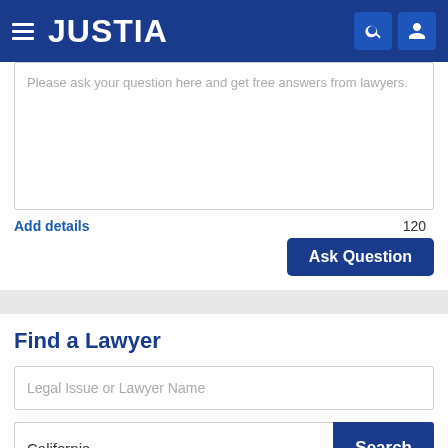JUSTIA
Please ask your question here and get free answers from lawyers.
Add details
120
Ask Question
Find a Lawyer
Legal Issue or Lawyer Name
California
Search
Lawyers - Get Listed Now!
Get a free directory profile listing